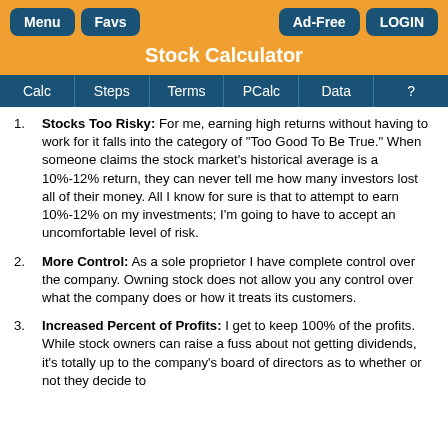Stock Calculator
Stocks Too Risky: For me, earning high returns without having to work for it falls into the category of "Too Good To Be True." When someone claims the stock market's historical average is a 10%-12% return, they can never tell me how many investors lost all of their money. All I know for sure is that to attempt to earn 10%-12% on my investments; I'm going to have to accept an uncomfortable level of risk.
More Control: As a sole proprietor I have complete control over the company. Owning stock does not allow you any control over what the company does or how it treats its customers.
Increased Percent of Profits: I get to keep 100% of the profits. While stock owners can raise a fuss about not getting dividends, it's totally up to the company's board of directors as to whether or not they decide to give a first dividend.